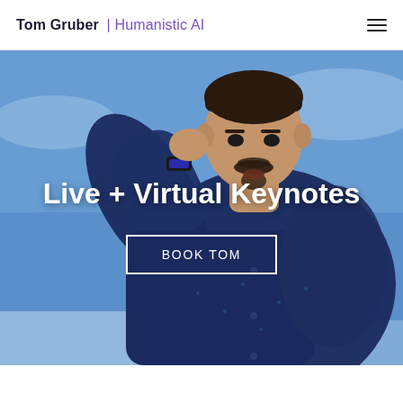Tom Gruber | Humanistic AI
[Figure (photo): A man in a dark navy button-up shirt speaking on stage, one hand raised near his face, wearing a lapel microphone. Background is a blurred blue stage set.]
Live + Virtual Keynotes
BOOK TOM